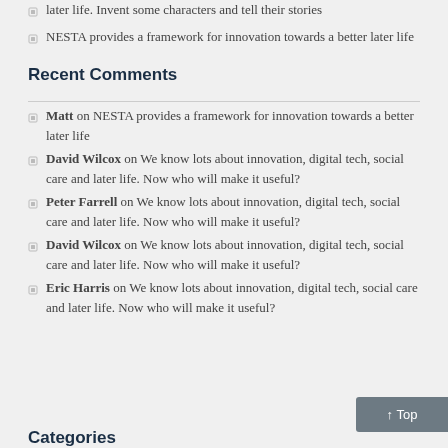later life. Invent some characters and tell their stories
NESTA provides a framework for innovation towards a better later life
Recent Comments
Matt on NESTA provides a framework for innovation towards a better later life
David Wilcox on We know lots about innovation, digital tech, social care and later life. Now who will make it useful?
Peter Farrell on We know lots about innovation, digital tech, social care and later life. Now who will make it useful?
David Wilcox on We know lots about innovation, digital tech, social care and later life. Now who will make it useful?
Eric Harris on We know lots about innovation, digital tech, social care and later life. Now who will make it useful?
Categories